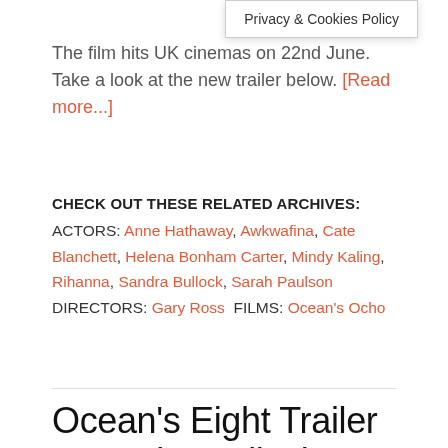Privacy & Cookies Policy
The film hits UK cinemas on 22nd June. Take a look at the new trailer below. [Read more...]
CHECK OUT THESE RELATED ARCHIVES:
ACTORS: Anne Hathaway, Awkwafina, Cate Blanchett, Helena Bonham Carter, Mindy Kaling, Rihanna, Sandra Bullock, Sarah Paulson  DIRECTORS: Gary Ross  FILMS: Ocean's Ocho
Ocean's Eight Trailer – Sandra Bullock assembles a star-studded female team for a heist